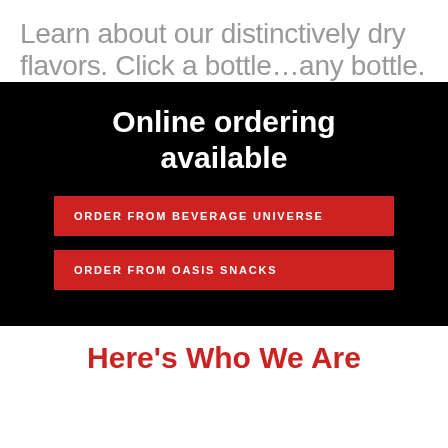Learn about our distinctively dry flavors.  Click a bottle…any bottle.
Online ordering available
ORDER FROM BEVERAGE UNIVERSE
ORDER FROM OASIS SNACKS
Here's Who We Are